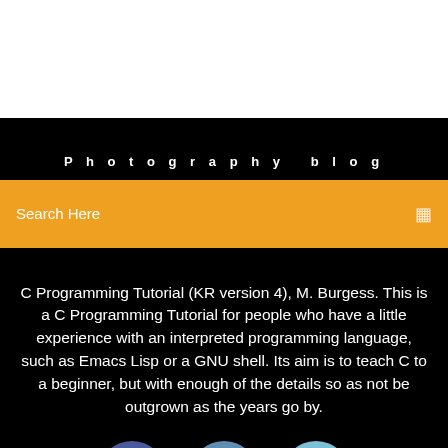Photography blog
Search Here
C Programming Tutorial (KR version 4), M. Burgess. This is a C Programming Tutorial for people who have a little experience with an interpreted programming language, such as Emacs Lisp or a GNU shell. Its aim is to teach C to a beginner, but with enough of the details so as not be outgrown as the years go by.
[Figure (infographic): Social media icons: Facebook, Twitter, Instagram circles]